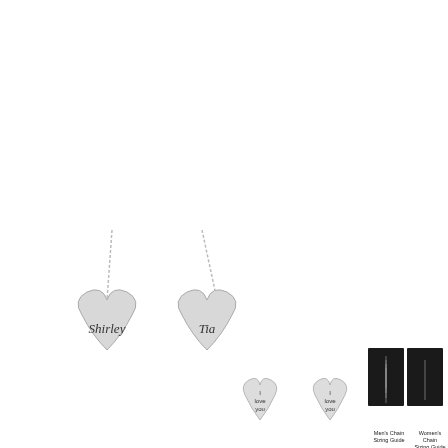[Figure (photo): Two silver heart-shaped pendants on chains, one engraved with 'Shirley' and one with 'Tia', hanging side by side against a white background.]
[Figure (photo): Two small silver heart-shaped pendants/charms side by side, each engraved with 'I love you' in handwritten script.]
[Figure (photo): Two reference photos side by side showing chain sizing guides: left shows a man in black shirt with multiple chain lengths labeled 'Men's Chain Sizing Guide', right shows a woman in black top with chain labeled 'Women's Chain Sizing Guide'.]
Men's Chain Sizing Guide
Women's Chain Sizing Guide